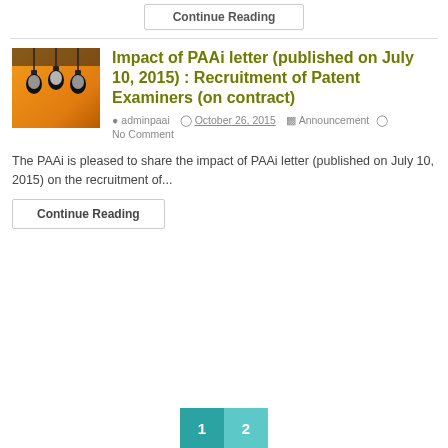Continue Reading
[Figure (photo): Photo of hanging light bulbs against orange background]
Impact of PAAi letter (published on July 10, 2015) : Recruitment of Patent Examiners (on contract)
adminpaai  October 26, 2015  Announcement  No Comment
The PAAi is pleased to share the impact of PAAi letter (published on July 10, 2015) on the recruitment of...
Continue Reading
1  2